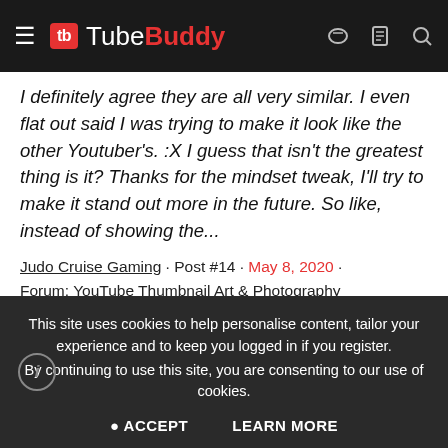TubeBuddy
I definitely agree they are all very similar. I even flat out said I was trying to make it look like the other Youtuber's. :X I guess that isn't the greatest thing is it? Thanks for the mindset tweak, I'll try to make it stand out more in the future. So like, instead of showing the...
Judo Cruise Gaming · Post #14 · May 8, 2020 · Forum: YouTube Thumbnail Art & Photography
Thumbnail Feedback  Would You Click This Thumbnail?
This site uses cookies to help personalise content, tailor your experience and to keep you logged in if you register.
By continuing to use this site, you are consenting to our use of cookies.
ACCEPT   LEARN MORE